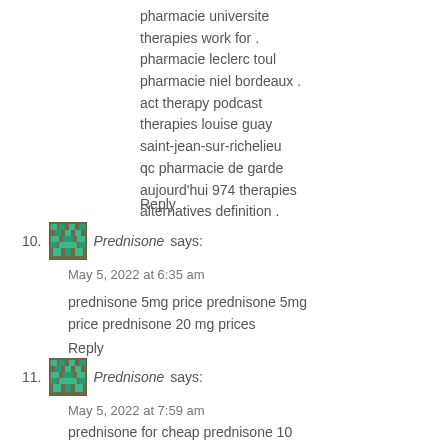pharmacie universite therapies work for . pharmacie leclerc toul pharmacie niel bordeaux . act therapy podcast therapies louise guay saint-jean-sur-richelieu qc pharmacie de garde aujourd'hui 974 therapies alternatives definition .
Reply
10. Prednisone says:
May 5, 2022 at 6:35 am
prednisone 5mg price prednisone 5mg price prednisone 20 mg prices
Reply
11. Prednisone says:
May 5, 2022 at 7:59 am
prednisone for cheap prednisone 10 mg buy prednisone no prescription